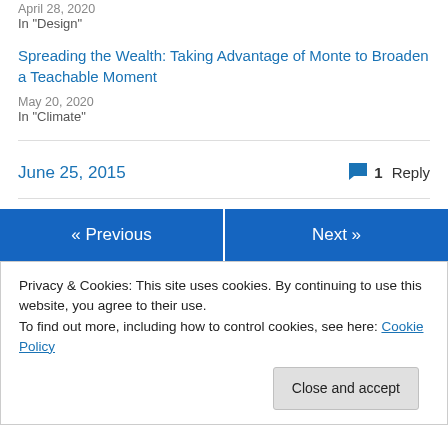April 28, 2020
In "Design"
Spreading the Wealth: Taking Advantage of Monte to Broaden a Teachable Moment
May 20, 2020
In "Climate"
June 25, 2015
1 Reply
« Previous
Next »
Privacy & Cookies: This site uses cookies. By continuing to use this website, you agree to their use.
To find out more, including how to control cookies, see here: Cookie Policy
Close and accept